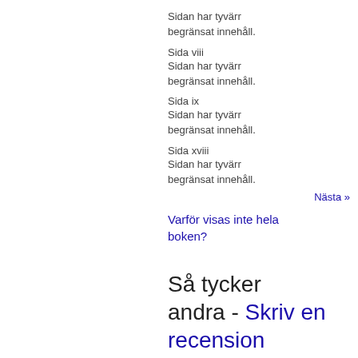Sidan har tyvärr begränsat innehåll.
Sida viii
Sidan har tyvärr begränsat innehåll.
Sida ix
Sidan har tyvärr begränsat innehåll.
Sida xviii
Sidan har tyvärr begränsat innehåll.
Nästa »
Varför visas inte hela boken?
Så tycker andra - Skriv en recension
Vi kunde inte hitta några recensioner.